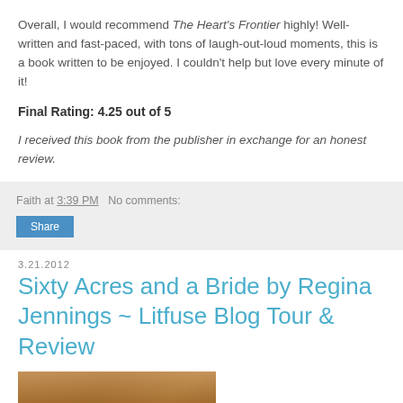Overall, I would recommend The Heart's Frontier highly! Well-written and fast-paced, with tons of laugh-out-loud moments, this is a book written to be enjoyed. I couldn't help but love every minute of it!
Final Rating: 4.25 out of 5
I received this book from the publisher in exchange for an honest review.
Faith at 3:39 PM   No comments:
Share
3.21.2012
Sixty Acres and a Bride by Regina Jennings ~ Litfuse Blog Tour & Review
[Figure (photo): Book cover photo, partially visible at bottom of page]